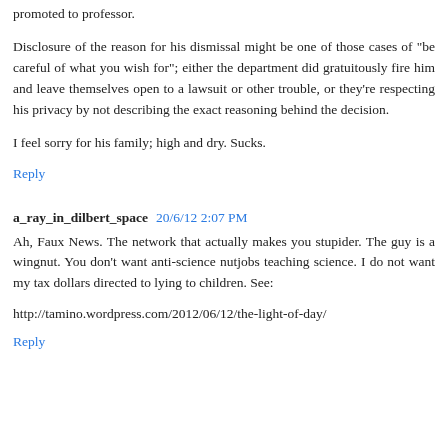promoted to professor.
Disclosure of the reason for his dismissal might be one of those cases of "be careful of what you wish for"; either the department did gratuitously fire him and leave themselves open to a lawsuit or other trouble, or they're respecting his privacy by not describing the exact reasoning behind the decision.
I feel sorry for his family; high and dry. Sucks.
Reply
a_ray_in_dilbert_space  20/6/12 2:07 PM
Ah, Faux News. The network that actually makes you stupider. The guy is a wingnut. You don't want anti-science nutjobs teaching science. I do not want my tax dollars directed to lying to children. See:
http://tamino.wordpress.com/2012/06/12/the-light-of-day/
Reply